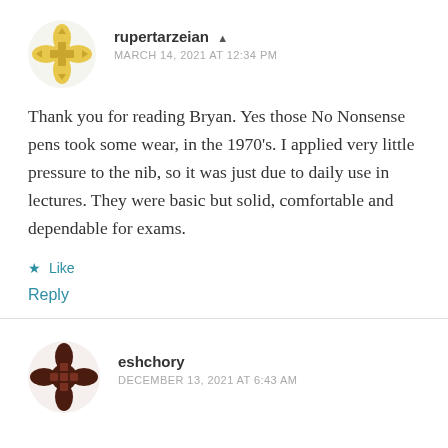rupertarzeian ▲
MARCH 14, 2021 AT 12:34 PM
Thank you for reading Bryan. Yes those No Nonsense pens took some wear, in the 1970's. I applied very little pressure to the nib, so it was just due to daily use in lectures. They were basic but solid, comfortable and dependable for exams.
★ Like
Reply
eshchory
DECEMBER 13, 2021 AT 6:43 AM